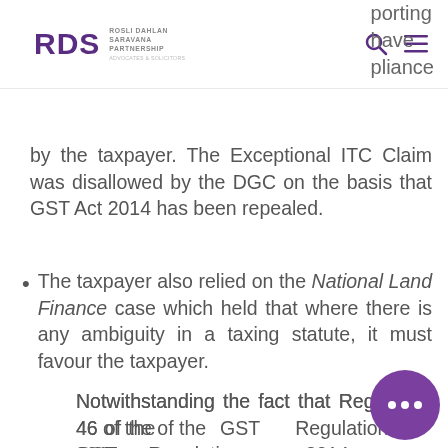RDS Rosli Dahlan Saravana Partnership Advocates & Solicitors
porting have pliance by the taxpayer. The Exceptional ITC Claim was disallowed by the DGC on the basis that GST Act 2014 has been repealed.
The taxpayer also relied on the National Land Finance case which held that where there is any ambiguity in a taxing statute, it must favour the taxpayer.
Notwithstanding the fact that Regulation 46 of the of the GST Regulations 2014 allows the DGC to the